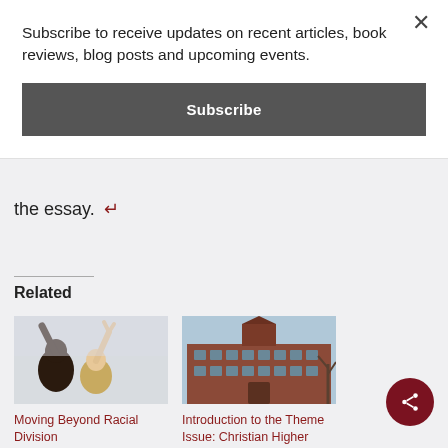Subscribe to receive updates on recent articles, book reviews, blog posts and upcoming events.
Subscribe
the essay.
Related
[Figure (photo): People raising hands in the air]
Moving Beyond Racial Division
July 21, 2022
In "Blog"
[Figure (photo): Brick university building exterior]
Introduction to the Theme Issue: Christian Higher Education as